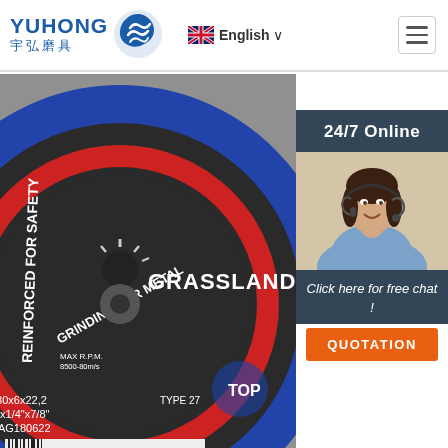[Figure (logo): YUHONG 宇弘磨具 logo with blue wave icon]
English ∨
[Figure (photo): Grassland brand grinding disc for metal, black with blue and red bands, 180x6x22.2mm, 7x1/4x7/8 inch, DAG180622, TYPE 27, reinforced for safety, max RPM 8500-80m/s]
24/7 Online
[Figure (photo): Customer service agent woman with headset, smiling, blue shirt]
Click here for free chat !
QUOTATION